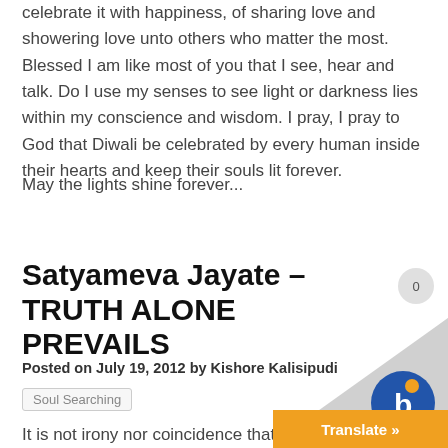celebrate it with happiness, of sharing love and showering love unto others who matter the most. Blessed I am like most of you that I see, hear and talk. Do I use my senses to see light or darkness lies within my conscience and wisdom. I pray, I pray to God that Diwali be celebrated by every human inside their hearts and keep their souls lit forever.
May the lights shine forever...
Satyameva Jayate – TRUTH ALONE PREVAILS
Posted on July 19, 2012 by Kishore Kalisipudi
Soul Searching
It is not irony nor coincidence that I am writi